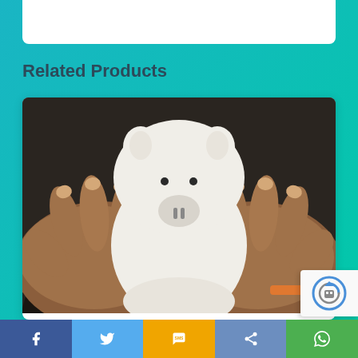Related Products
[Figure (photo): Hands holding a white piggy bank from below, close-up shot on dark background]
Annuities
[Figure (logo): reCAPTCHA badge with refresh/robot icon]
Social share buttons: Facebook, Twitter, SMS, Share, WhatsApp